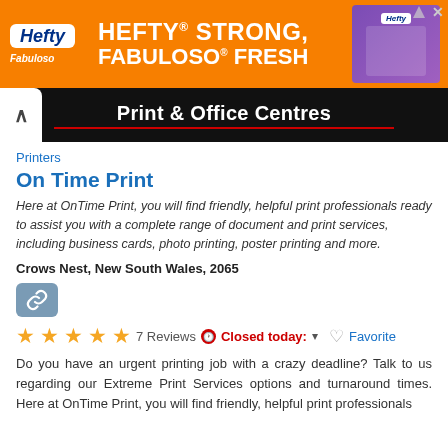[Figure (screenshot): Hefty brand advertisement banner with orange background. Text reads 'HEFTY STRONG, FABULOSO FRESH' with Hefty and Fabuloso logos.]
[Figure (screenshot): Black navigation bar with white text 'Print & Office Centres' and red underline, with back arrow on left.]
Printers
On Time Print
Here at OnTime Print, you will find friendly, helpful print professionals ready to assist you with a complete range of document and print services, including business cards, photo printing, poster printing and more.
Crows Nest, New South Wales, 2065
[Figure (other): Link button icon (chain link) in teal-blue rounded rectangle]
★★★★★ 7 Reviews  Closed today:  ▼  ♡ Favorite
Do you have an urgent printing job with a crazy deadline? Talk to us regarding our Extreme Print Services options and turnaround times. Here at OnTime Print, you will find friendly, helpful print professionals